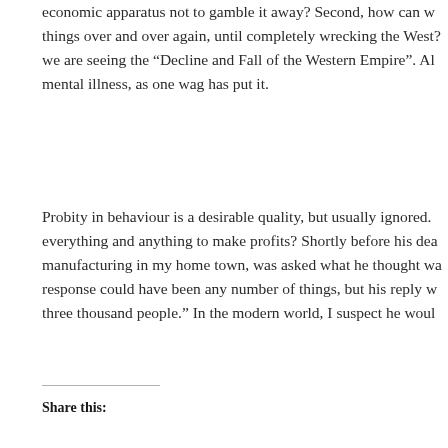economic apparatus not to gamble it away? Second, how can w things over and over again, until completely wrecking the West we are seeing the "Decline and Fall of the Western Empire". Al mental illness, as one wag has put it.
Probity in behaviour is a desirable quality, but usually ignored. everything and anything to make profits? Shortly before his dea manufacturing in my home town, was asked what he thought wa response could have been any number of things, but his reply w three thousand people." In the modern world, I suspect he woul
Share this: